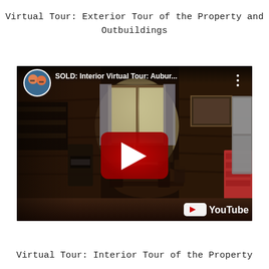Virtual Tour: Exterior Tour of the Property and Outbuildings
[Figure (screenshot): YouTube video thumbnail showing interior of a log cabin with dining table, chairs, wood stove, and kitchen. Video title overlay reads 'SOLD: Interior Virtual Tour: Aubur...' with a channel avatar showing two people and a red YouTube play button in the center. YouTube logo visible in bottom right corner.]
Virtual Tour: Interior Tour of the Property